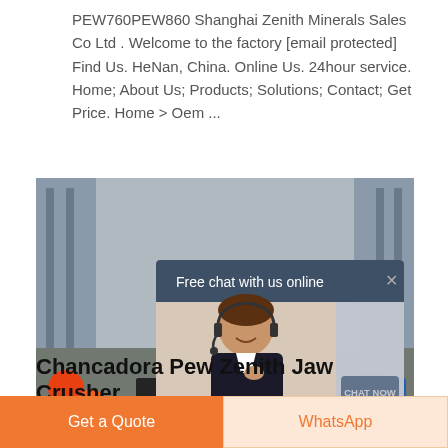PEW760PEW860 Shanghai Zenith Minerals Sales Co Ltd . Welcome to the factory [email protected] Find Us. HeNan, China. Online Us. 24hour service. Home; About Us; Products; Solutions; Contact; Get Price. Home > Oem ...
[Figure (screenshot): Screenshot of a website showing a jaw crusher machine with an overlaid chat popup that reads 'Free chat with us online' with a customer service agent photo and a 'CHAT NOW' button.]
Chancadora Pew Zenith Jaw Crusher
Get a Quote
WhatsApp